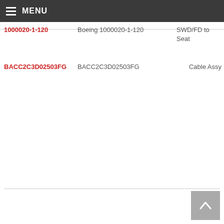MENU
| Part Number | Description | Application |
| --- | --- | --- |
| 1000020-1-120 | Boeing 1000020-1-120 | SWD/FD to Seat |
| BACC2C3D02503FG | BACC2C3D02503FG | Cable Assy |